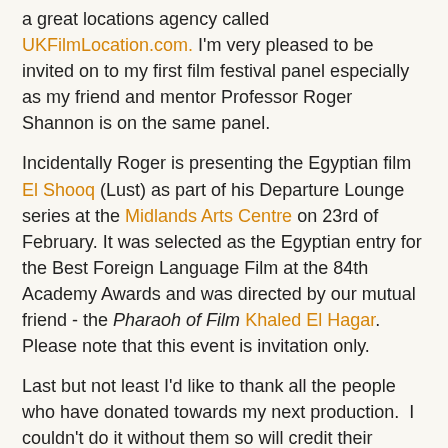a great locations agency called UKFilmLocation.com. I'm very pleased to be invited on to my first film festival panel especially as my friend and mentor Professor Roger Shannon is on the same panel.
Incidentally Roger is presenting the Egyptian film El Shooq (Lust) as part of his Departure Lounge series at the Midlands Arts Centre on 23rd of February. It was selected as the Egyptian entry for the Best Foreign Language Film at the 84th Academy Awards and was directed by our mutual friend - the Pharaoh of Film Khaled El Hagar. Please note that this event is invitation only.
Last but not least I'd like to thank all the people who have donated towards my next production.  I couldn't do it without them so will credit their names with pride. If you haven't donated then you still can via this link to my Indiegogo Crowdfunding camapign.
http://www.indiegogo.com/projects/sf4813/x/8189
Thats all for now folks!